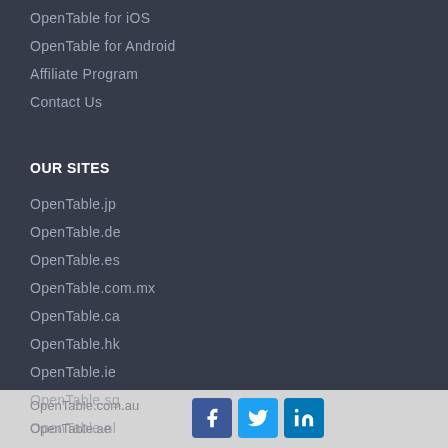OpenTable for iOS
OpenTable for Android
Affiliate Program
Contact Us
OUR SITES
OpenTable.jp
OpenTable.de
OpenTable.es
OpenTable.com.mx
OpenTable.ca
OpenTable.hk
OpenTable.ie
OpenTable.sg
OpenTable.nl
OpenTable.co.uk
OpenTable.com.au
OpenTable.ae
[Figure (logo): Social media icons: Facebook, Twitter, LinkedIn]